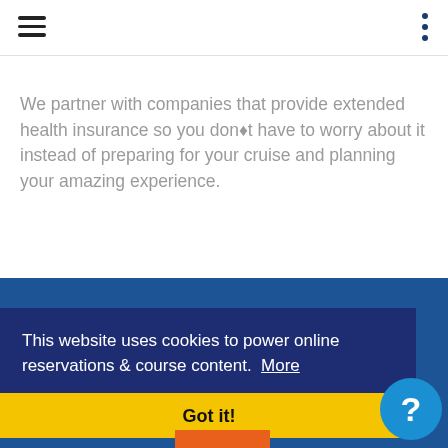[Figure (screenshot): Navigation bar with hamburger menu on left and three-dot menu on right, blue chevron/check icon below]
We partner with companies that provide extended health insurance so you don’t have to worry about it instead of preparing for your cruise and planning your amazing experience.
This website uses cookies to power online reservations & course content.  More
Got it!
[Figure (illustration): Blue circular help button with question mark]